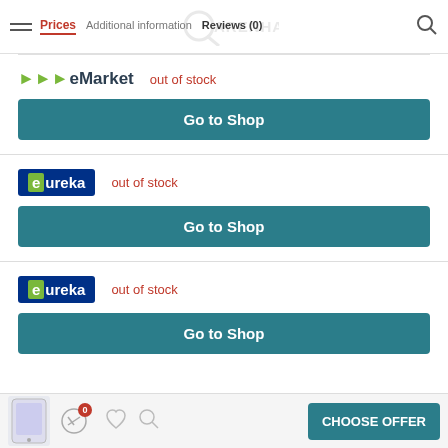Prices | Additional information | Reviews (0)
[Figure (logo): eMarket logo with green arrows and dark text]
out of stock
Go to Shop
[Figure (logo): eureka logo with green e on blue background]
out of stock
Go to Shop
[Figure (logo): eureka logo with green e on blue background]
out of stock
Go to Shop
CHOOSE OFFER